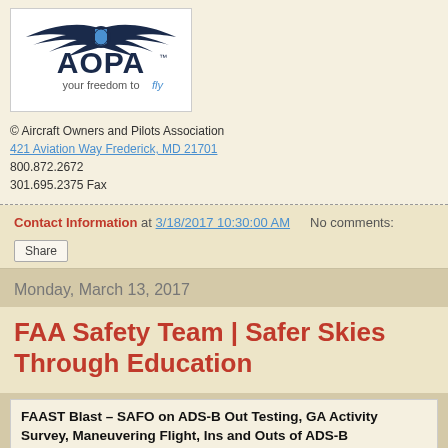[Figure (logo): AOPA logo with wings and text 'your freedom to fly']
© Aircraft Owners and Pilots Association
421 Aviation Way Frederick, MD 21701
800.872.2672
301.695.2375 Fax
Contact Information at 3/18/2017 10:30:00 AM   No comments:
Share
Monday, March 13, 2017
FAA Safety Team | Safer Skies Through Education
FAAST Blast – SAFO on ADS-B Out Testing, GA Activity Survey, Maneuvering Flight, Ins and Outs of ADS-B